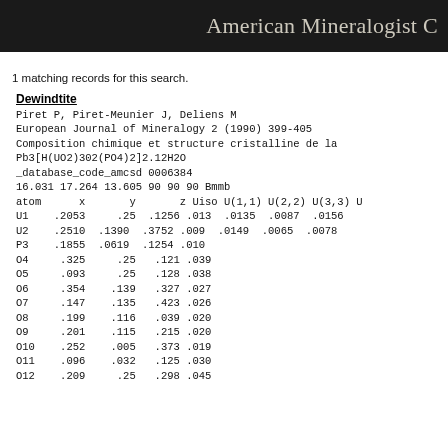American Mineralogist C
1 matching records for this search.
Dewindtite
Piret P, Piret-Meunier J, Deliens M
European Journal of Mineralogy 2 (1990) 399-405
Composition chimique et structure cristalline de la
Pb3[H(UO2)302(PO4)2]2.12H2O
_database_code_amcsd 0006384
16.031 17.264 13.605 90 90 90 Bmmb
atom      x       y       z Uiso U(1,1) U(2,2) U(3,3) U
U1   .2053    .25  .1256 .013  .0135  .0087  .0156
U2   .2510  .1390  .3752 .009  .0149  .0065  .0078
P3   .1855  .0619  .1254 .010
O4    .325    .25   .121 .039
O5    .093    .25   .128 .038
O6    .354   .139   .327 .027
O7    .147   .135   .423 .026
O8    .199   .116   .039 .020
O9    .201   .115   .215 .020
O10   .252   .005   .373 .019
O11   .096   .032   .125 .030
O12   .209    .25   .298 .045